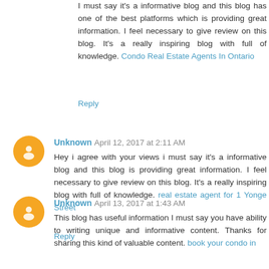I must say it's a informative blog and this blog has one of the best platforms which is providing great information. I feel necessary to give review on this blog. It's a really inspiring blog with full of knowledge. Condo Real Estate Agents In Ontario
Reply
Unknown April 12, 2017 at 2:11 AM
Hey i agree with your views i must say it's a informative blog and this blog is providing great information. I feel necessary to give review on this blog. It's a really inspiring blog with full of knowledge. real estate agent for 1 Yonge Street
Reply
Unknown April 13, 2017 at 1:43 AM
This blog has useful information I must say you have ability to writing unique and informative content. Thanks for sharing this kind of valuable content. book your condo in